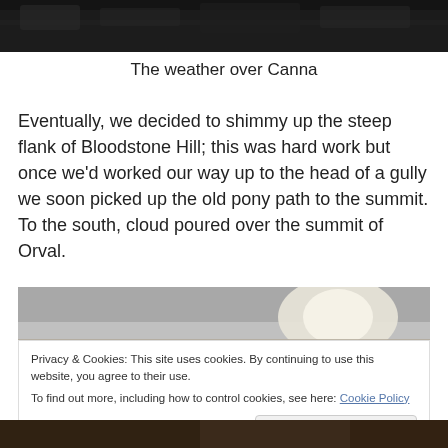[Figure (photo): Dark landscape photo at the top of the page]
The weather over Canna
Eventually, we decided to shimmy up the steep flank of Bloodstone Hill; this was hard work but once we'd worked our way up to the head of a gully we soon picked up the old pony path to the summit. To the south, cloud poured over the summit of Orval.
[Figure (photo): Misty landscape photo with bright sky in the middle section]
Privacy & Cookies: This site uses cookies. By continuing to use this website, you agree to their use.
To find out more, including how to control cookies, see here: Cookie Policy
[Figure (photo): Dark landscape photo strip at the bottom of the page]